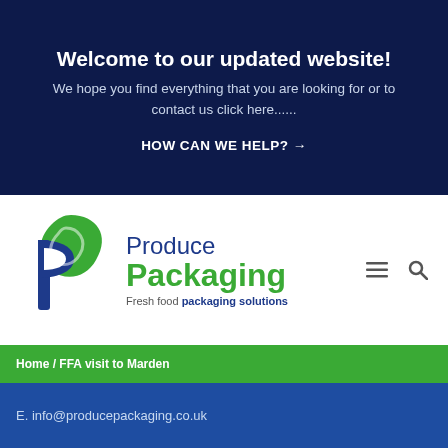Welcome to our updated website!
We hope you find everything that you are looking for or to contact us click here......
HOW CAN WE HELP? →
[Figure (logo): Produce Packaging logo: a green leaf and blue P icon, with text 'Produce Packaging' and tagline 'Fresh food packaging solutions']
Home / FFA visit to Marden
E. info@producepackaging.co.uk
Sitemap   Privacy Policy   Terms & Conditions   Website by Optima